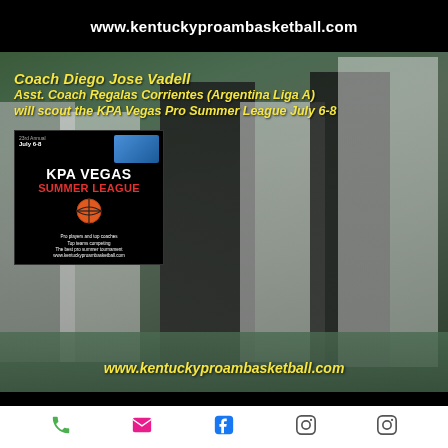www.kentuckyproambasketball.com
[Figure (photo): Basketball coaching scene with players in white Regatas jerseys and coaches in dark clothing on a basketball court. An inset KPA Vegas Summer League flyer overlay is visible in the upper left of the photo. Yellow italic text overlay reads: Coach Diego Jose Vadell / Asst. Coach Regalas Corrientes (Argentina Liga A) / will scout the KPA Vegas Pro Summer League July 6-8. Bottom text overlay: www.kentuckyproambasketball.com]
Phone | Email | Facebook | Instagram | Instagram